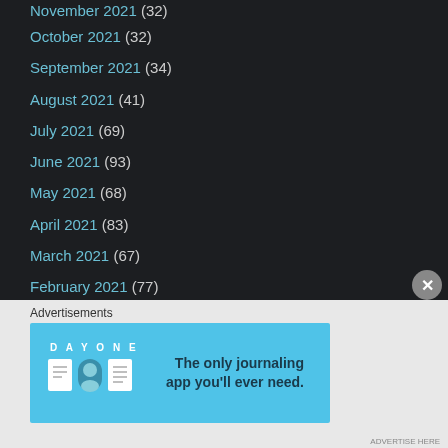October 2021 (32)
September 2021 (34)
August 2021 (41)
July 2021 (69)
June 2021 (93)
May 2021 (68)
April 2021 (83)
March 2021 (67)
February 2021 (77)
January 2021 (142)
December 2020 (96)
November 2020 (57)
October 2020 (40)
September 2020 (43)
Advertisements
[Figure (illustration): DAY ONE app advertisement banner. Shows the text 'DAY ONE' with app icons and the tagline 'The only journaling app you'll ever need.']